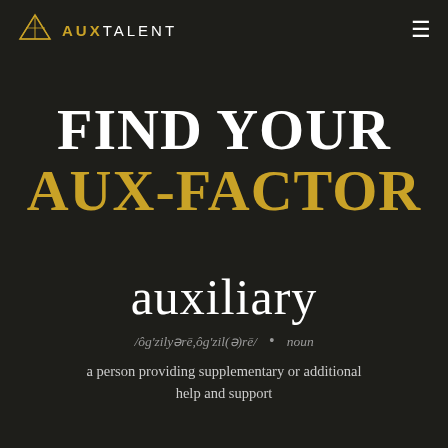AUX TALENT
FIND YOUR AUX-FACTOR
auxiliary
/ôg'zilyərē,ôg'zil(ə)rē/ • noun
a person providing supplementary or additional help and support